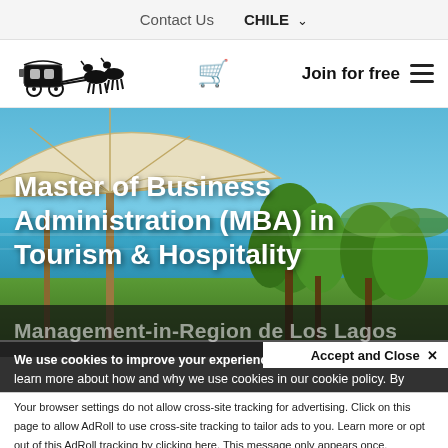Contact Us   CHILE ▾
[Figure (logo): Horse-drawn carriage logo illustration]
Join for free  ≡
[Figure (photo): Outdoor beach/resort scene with white patio umbrella, turquoise water, trees and vegetation in background]
Master of Business Administration (MBA) in Tourism & Hospitality
Management-in-Region de Los Lagos
We use cookies to improve your experience on this website. You can learn more about how and why we use cookies in our cookie policy. By using this website, you agree to the use of cookies.
Accept and Close ✕
Your browser settings do not allow cross-site tracking for advertising. Click on this page to allow AdRoll to use cross-site tracking to tailor ads to you. Learn more or opt out of this AdRoll tracking by clicking here. This message only appears once.